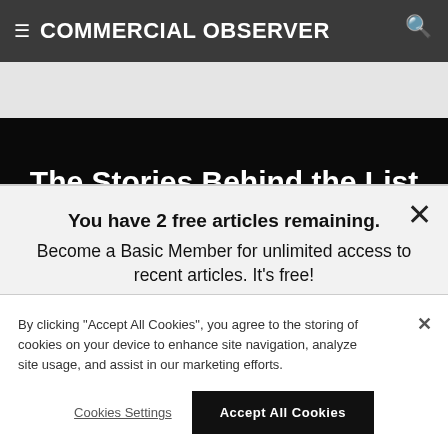≡ COMMERCIAL OBSERVER
The Stories Behind the List
You have 2 free articles remaining.
Become a Basic Member for unlimited access to recent articles. It's free!
By clicking "Accept All Cookies", you agree to the storing of cookies on your device to enhance site navigation, analyze site usage, and assist in our marketing efforts.
Cookies Settings
Accept All Cookies